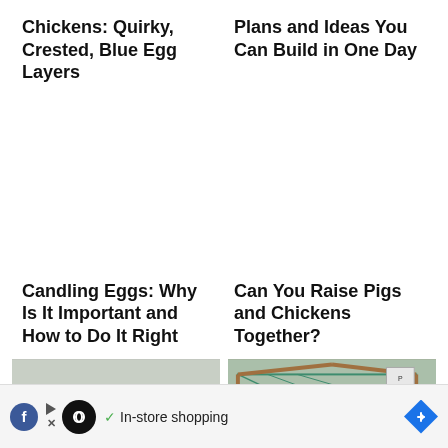Chickens: Quirky, Crested, Blue Egg Layers
Plans and Ideas You Can Build in One Day
Candling Eggs: Why Is It Important and How to Do It Right
Can You Raise Pigs and Chickens Together?
[Figure (photo): A large red-combed rooster viewed from behind, standing in front of trees and other chickens]
[Figure (photo): A wooden A-frame chicken tractor covered with green wire mesh in a garden setting with a sign]
In-store shopping